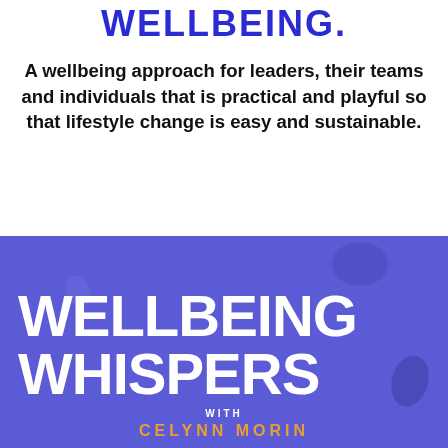WELLBEING.
A wellbeing approach for leaders, their teams and individuals that is practical and playful so that lifestyle change is easy and sustainable.
[Figure (logo): Blue/purple podcast cover art for 'Wellbeing Whispers with Celynn Morin'. Large white bold text 'WELLBEING WHISPERS' on a blue-purple background, with 'WITH' in small white caps and 'CELYNN MORIN' in gold/orange letters below.]